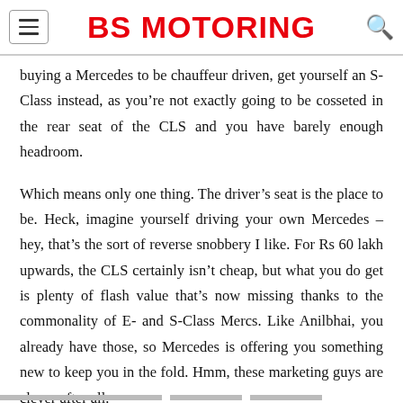BS MOTORING
buying a Mercedes to be chauffeur driven, get yourself an S-Class instead, as you’re not exactly going to be cosseted in the rear seat of the CLS and you have barely enough headroom.
Which means only one thing. The driver’s seat is the place to be. Heck, imagine yourself driving your own Mercedes – hey, that’s the sort of reverse snobbery I like. For Rs 60 lakh upwards, the CLS certainly isn’t cheap, but what you do get is plenty of flash value that’s now missing thanks to the commonality of E- and S-Class Mercs. Like Anilbhai, you already have those, so Mercedes is offering you something new to keep you in the fold. Hmm, these marketing guys are clever after all.